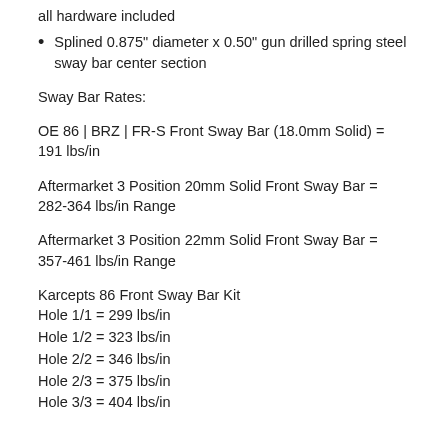all hardware included
Splined 0.875" diameter x 0.50" gun drilled spring steel sway bar center section
Sway Bar Rates:
OE 86 | BRZ | FR-S Front Sway Bar (18.0mm Solid) = 191 lbs/in
Aftermarket 3 Position 20mm Solid Front Sway Bar = 282-364 lbs/in Range
Aftermarket 3 Position 22mm Solid Front Sway Bar = 357-461 lbs/in Range
Karcepts 86 Front Sway Bar Kit
Hole 1/1 = 299 lbs/in
Hole 1/2 = 323 lbs/in
Hole 2/2 = 346 lbs/in
Hole 2/3 = 375 lbs/in
Hole 3/3 = 404 lbs/in